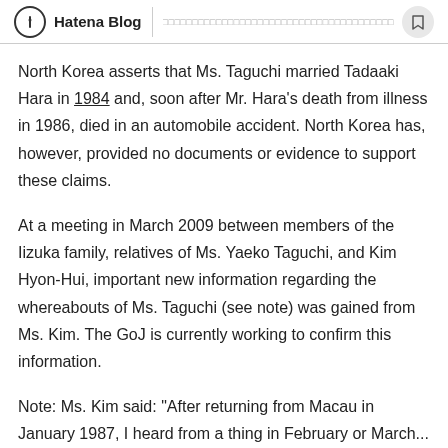Hatena Blog | [URL bar text]
North Korea asserts that Ms. Taguchi married Tadaaki Hara in 1984 and, soon after Mr. Hara's death from illness in 1986, died in an automobile accident. North Korea has, however, provided no documents or evidence to support these claims.
At a meeting in March 2009 between members of the Iizuka family, relatives of Ms. Yaeko Taguchi, and Kim Hyon-Hui, important new information regarding the whereabouts of Ms. Taguchi (see note) was gained from Ms. Kim. The GoJ is currently working to confirm this information.
Note: Ms. Kim said: "After returning from Macau in January 1987, I heard from a thing in February or March...